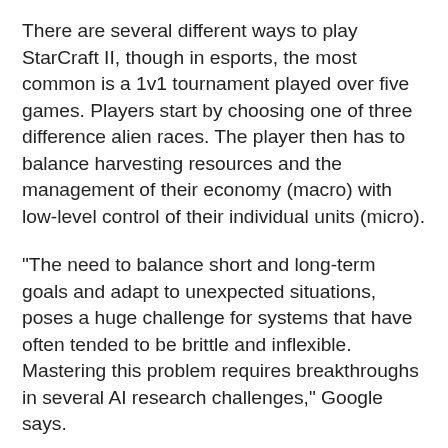There are several different ways to play StarCraft II, though in esports, the most common is a 1v1 tournament played over five games. Players start by choosing one of three difference alien races. The player then has to balance harvesting resources and the management of their economy (macro) with low-level control of their individual units (micro).
"The need to balance short and long-term goals and adapt to unexpected situations, poses a huge challenge for systems that have often tended to be brittle and inflexible. Mastering this problem requires breakthroughs in several AI research challenges," Google says.
One of those challenges is "imperfect information." Unlike games such as chess or Go where the entire board is in view, crucial information is hidden from a StarCraft player and must be discovered by scouting. That is just one of many challenges, though—the AI must deal with game the...